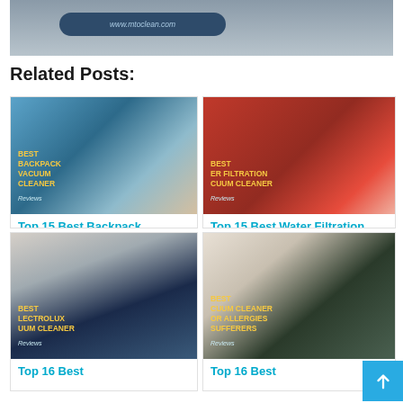[Figure (photo): Top portion of a vacuum cleaner related website image with www.mtoclean.com overlay badge]
Related Posts:
[Figure (photo): Best Backpack Vacuum Cleaner product image with yellow text overlay]
Top 15 Best Backpack
[Figure (photo): Best Water Filtration Vacuum Cleaner product image with yellow text overlay]
Top 15 Best Water Filtration
[Figure (photo): Best Electrolux Vacuum Cleaner product image with yellow text overlay]
Top 16 Best
[Figure (photo): Best Vacuum Cleaner for Allergies Sufferers product image with yellow text overlay]
Top 16 Best